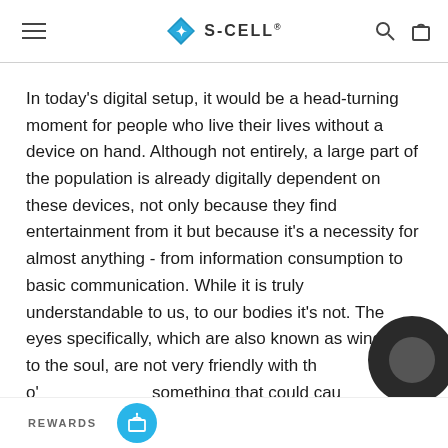S-CELL®
In today's digital setup, it would be a head-turning moment for people who live their lives without a device on hand. Although not entirely, a large part of the population is already digitally dependent on these devices, not only because they find entertainment from it but because it's a necessity for almost anything - from information consumption to basic communication. While it is truly understandable to us, to our bodies it's not. The eyes specifically, which are also known as windows to the soul, are not very friendly with th o' something that could cau h /exposed. This is called the blue
REWARDS